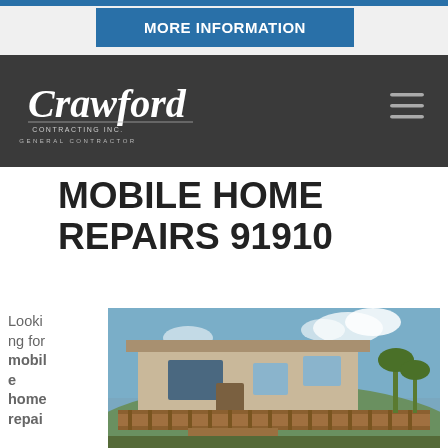MORE INFORMATION
[Figure (logo): Crawford Contracting Inc. General Contractor logo in white script on dark background]
MOBILE HOME REPAIRS 91910
Looking for mobile home repai...
[Figure (photo): Exterior photo of a mobile home with wooden deck and stairs, blue sky with clouds and palm trees visible]